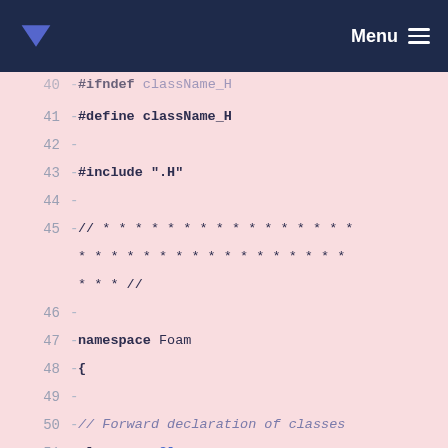Menu
40  - #ifndef className_H
41  - #define className_H
42  -
43  - #include ".H"
44  -
45  - // * * * * * * * * * * * * * * * * * * * * * * * * * * * * * * * * * * //
46  -
47  - namespace Foam
48  - {
49  -
50  - // Forward declaration of classes
51  - class someClass;
52  -
53  - // Forward declaration of friend functions and operators
54  - class className;
55  - Istream& operator>>(Istream&, className&);
56  - Ostream& operator<<(Ostream&, const